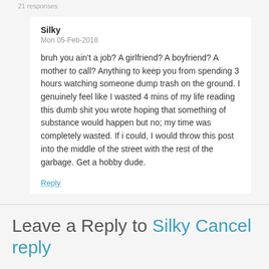21 Responses
Silky
Mon 05-Feb-2018
bruh you ain't a job? A girlfriend? A boyfriend? A mother to call? Anything to keep you from spending 3 hours watching someone dump trash on the ground. I genuinely feel like I wasted 4 mins of my life reading this dumb shit you wrote hoping that something of substance would happen but no; my time was completely wasted. If i could, I would throw this post into the middle of the street with the rest of the garbage. Get a hobby dude.
Reply
Leave a Reply to Silky Cancel reply
Your email address will not be published. Required fields are marked *